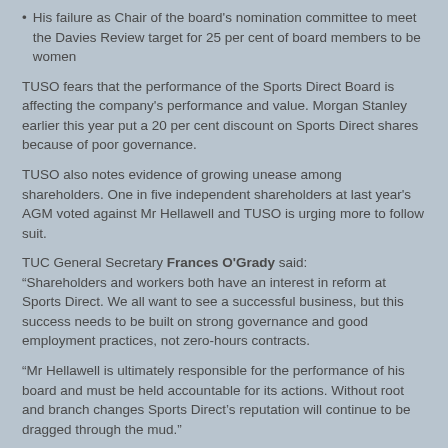His failure as Chair of the board's nomination committee to meet the Davies Review target for 25 per cent of board members to be women
TUSO fears that the performance of the Sports Direct Board is affecting the company's performance and value. Morgan Stanley earlier this year put a 20 per cent discount on Sports Direct shares because of poor governance.
TUSO also notes evidence of growing unease among shareholders. One in five independent shareholders at last year's AGM voted against Mr Hellawell and TUSO is urging more to follow suit.
TUC General Secretary Frances O'Grady said: “Shareholders and workers both have an interest in reform at Sports Direct. We all want to see a successful business, but this success needs to be built on strong governance and good employment practices, not zero-hours contracts.
“Mr Hellawell is ultimately responsible for the performance of his board and must be held accountable for its actions. Without root and branch changes Sports Direct’s reputation will continue to be dragged through the mud.”